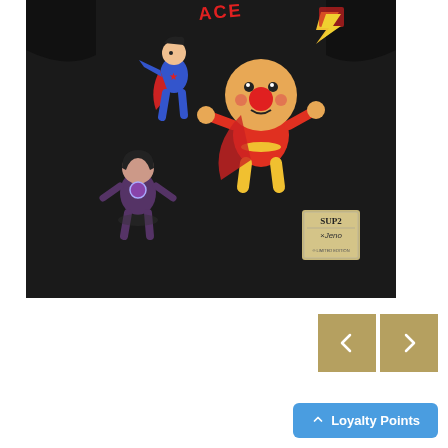[Figure (photo): Black t-shirt with anime character graphics including Anpanman and other superhero characters, with a brand patch label (SUP2 x Jeno) on lower right of shirt]
[Figure (other): Navigation previous and next buttons in tan/khaki color]
Loyalty Points